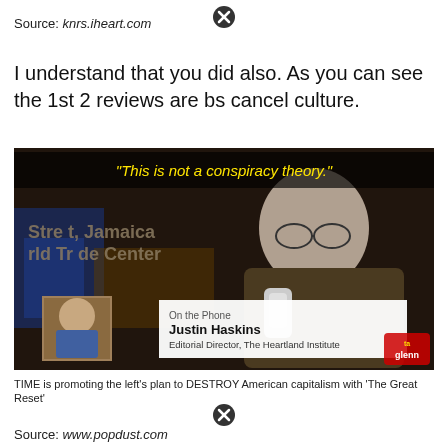Source: knrs.iheart.com
I understand that you did also. As you can see the 1st 2 reviews are bs cancel culture.
[Figure (screenshot): Screenshot of a TV broadcast showing a man speaking into a microphone with text overlay 'This is not a conspiracy theory.' in yellow, and a lower-third graphic showing 'On the Phone - Justin Haskins, Editorial Director, The Heartland Institute'. Background shows blurry text 'Street, Jamaica World Trade Center'. Bottom caption reads: TIME is promoting the left's plan to DESTROY American capitalism with 'The Great Reset']
Source: www.popdust.com